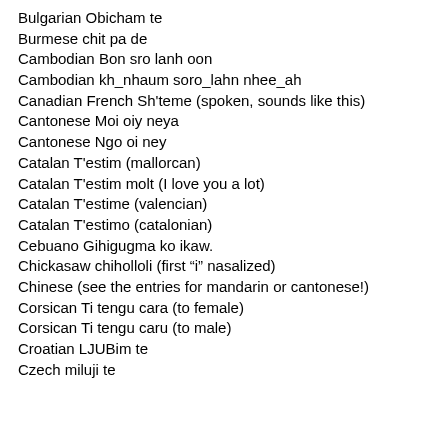Bulgarian Obicham te
Burmese chit pa de
Cambodian Bon sro lanh oon
Cambodian kh_nhaum soro_lahn nhee_ah
Canadian French Sh'teme (spoken, sounds like this)
Cantonese Moi oiy neya
Cantonese Ngo oi ney
Catalan T'estim (mallorcan)
Catalan T'estim molt (I love you a lot)
Catalan T'estime (valencian)
Catalan T'estimo (catalonian)
Cebuano Gihigugma ko ikaw.
Chickasaw chiholloli (first "i" nasalized)
Chinese (see the entries for mandarin or cantonese!)
Corsican Ti tengu cara (to female)
Corsican Ti tengu caru (to male)
Croatian LJUBim te
Czech miluji te